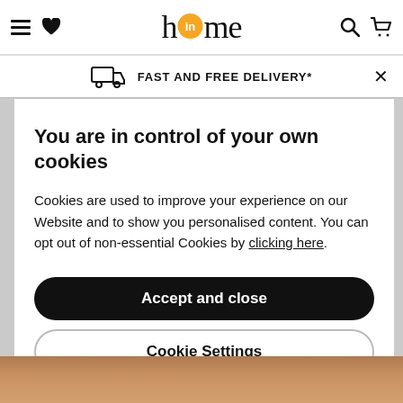home in home
FAST AND FREE DELIVERY*
You are in control of your own cookies
Cookies are used to improve your experience on our Website and to show you personalised content. You can opt out of non-essential Cookies by clicking here.
Accept and close
Cookie Settings